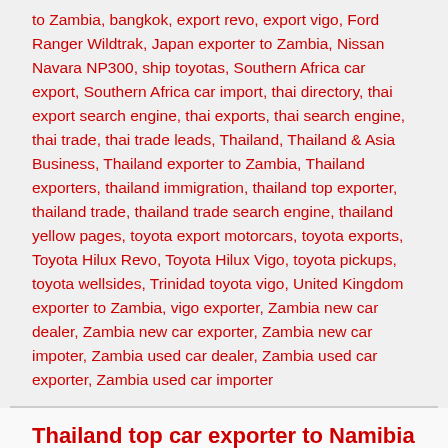to Zambia, bangkok, export revo, export vigo, Ford Ranger Wildtrak, Japan exporter to Zambia, Nissan Navara NP300, ship toyotas, Southern Africa car export, Southern Africa car import, thai directory, thai export search engine, thai exports, thai search engine, thai trade, thai trade leads, Thailand, Thailand & Asia Business, Thailand exporter to Zambia, Thailand exporters, thailand immigration, thailand top exporter, thailand trade, thailand trade search engine, thailand yellow pages, toyota export motorcars, toyota exports, Toyota Hilux Revo, Toyota Hilux Vigo, toyota pickups, toyota wellsides, Trinidad toyota vigo, United Kingdom exporter to Zambia, vigo exporter, Zambia new car dealer, Zambia new car exporter, Zambia new car impoter, Zambia used car dealer, Zambia used car exporter, Zambia used car importer
Thailand top car exporter to Namibia